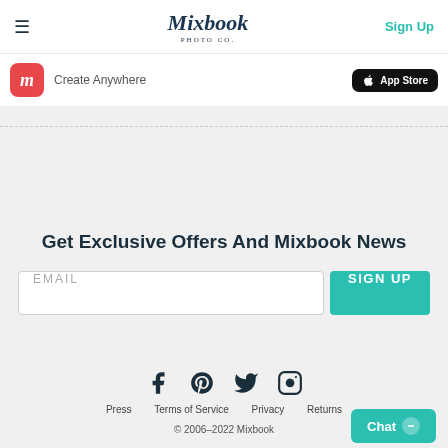Mixbook Photo Co. — Sign Up
[Figure (screenshot): App banner with Mixbook icon, 'Create Anywhere' text, and App Store download button]
Get Exclusive Offers And Mixbook News
EMAIL — SIGN UP button
[Figure (infographic): Social media icons: Facebook, Pinterest, Twitter, Instagram]
Press  Terms of Service  Privacy  Returns  © 2006–2022 Mixbook